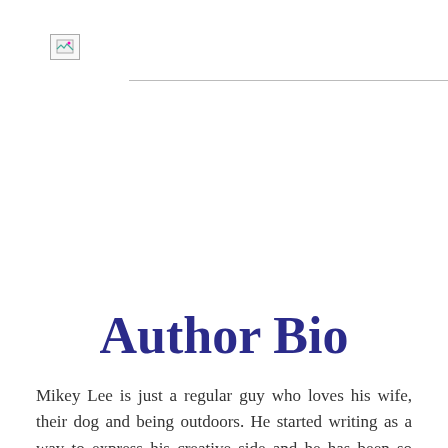[Figure (other): Broken/missing image placeholder with small icon and horizontal rule line]
Author Bio
Mikey Lee is just a regular guy who loves his wife, their dog and being outdoors. He started writing as a way to express his creative side and he has been so humbled by the support of